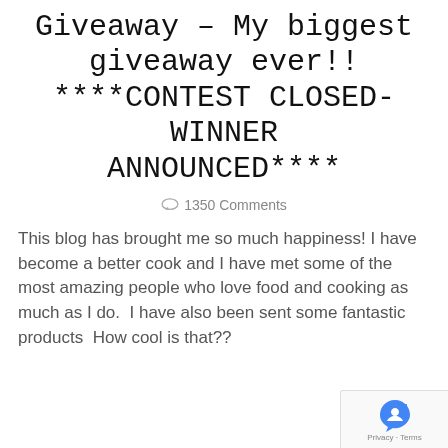Giveaway – My biggest giveaway ever!! ****CONTEST CLOSED- WINNER ANNOUNCED****
1350 Comments
This blog has brought me so much happiness! I have become a better cook and I have met some of the most amazing people who love food and cooking as much as I do.  I have also been sent some fantastic products  How cool is that??